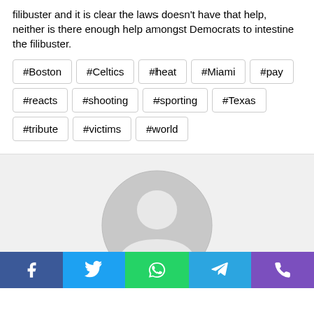filibuster and it is clear the laws doesn't have that help, neither is there enough help amongst Democrats to intestine the filibuster.
#Boston
#Celtics
#heat
#Miami
#pay
#reacts
#shooting
#sporting
#Texas
#tribute
#victims
#world
[Figure (illustration): Default user avatar placeholder — a grey circle with a person silhouette outline]
Facebook | Twitter | WhatsApp | Telegram | Phone